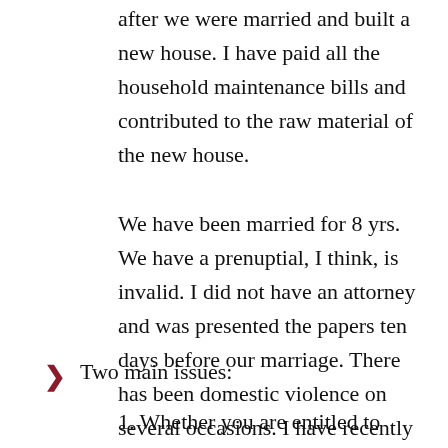after we were married and built a new house. I have paid all the household maintenance bills and contributed to the raw material of the new house.
We have been married for 8 yrs. We have a prenuptial, I think, is invalid. I did not have an attorney and was presented the papers ten days before our marriage. There has been domestic violence on several occasions. I have recently been out of work and am receiving social security disability. I cannot go back to work. He made 138,000 last year but denies I am entitled to anything. We have no children. Please advise.
Two main issues:
1. Whether you are entitled to spousal support;